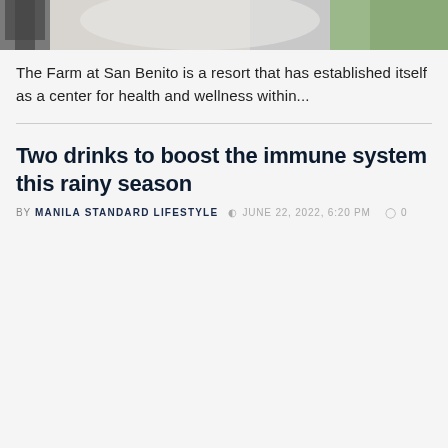[Figure (photo): Partial view of a photo showing what appears to be a resort or outdoor scene with fabric/tent structures and greenery]
The Farm at San Benito is a resort that has established itself as a center for health and wellness within...
Two drinks to boost the immune system this rainy season
BY MANILA STANDARD LIFESTYLE  JUNE 22, 2022, 6:20 PM  0